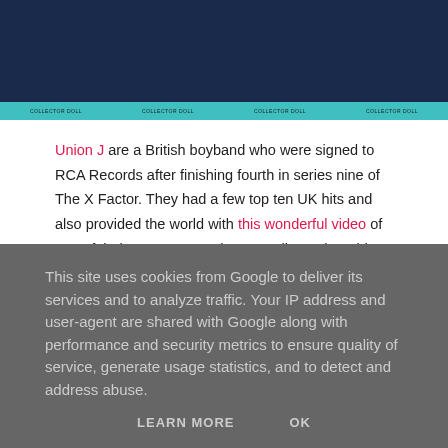[Figure (photo): Union J collector doll packaging showing the band name 'Union J' in cursive script on teal banners, multiple doll boxes visible side by side against a dark blue background]
Union J are a British boyband who were signed to RCA Records after finishing fourth in series nine of The X Factor. They had a few top ten UK hits and also provided the world with this wonderful video of one of their younger members needing to be told that Taylor Swift's bearding career has nothing to do with her facial hair...
In 2013 Vivid released a set of lookalike dolls. Hamleys were initially selling them for £17 a piece, but you can get them new on Amazon now for £12.99 each.
This site uses cookies from Google to deliver its services and to analyze traffic. Your IP address and user-agent are shared with Google along with performance and security metrics to ensure quality of service, generate usage statistics, and to detect and address abuse.